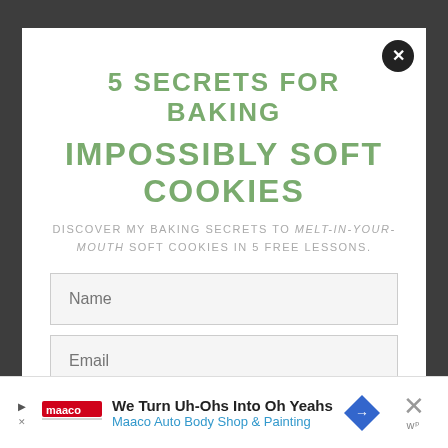5 SECRETS FOR BAKING
IMPOSSIBLY SOFT COOKIES
DISCOVER MY BAKING SECRETS TO MELT-IN-YOUR-MOUTH SOFT COOKIES IN 5 FREE LESSONS.
[Figure (other): Name input field placeholder]
[Figure (other): Email input field placeholder]
[Figure (other): Green submit button with text YES, I WANT IT!]
[Figure (other): Advertisement banner: We Turn Uh-Ohs Into Oh Yeahs - Maaco Auto Body Shop & Painting]